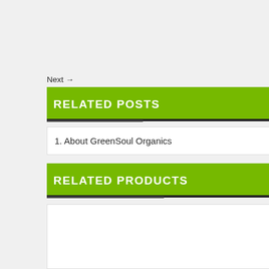Next →
RELATED POSTS
1. About GreenSoul Organics
RELATED PRODUCTS
[Figure (other): Empty white product card placeholder]